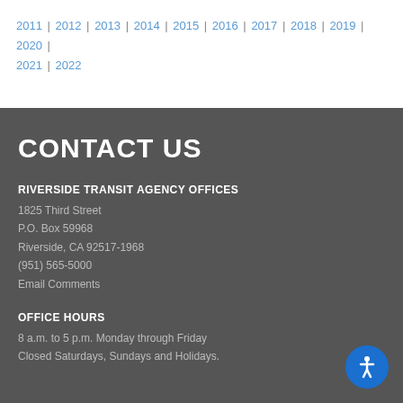2011 | 2012 | 2013 | 2014 | 2015 | 2016 | 2017 | 2018 | 2019 | 2020 | 2021 | 2022
CONTACT US
RIVERSIDE TRANSIT AGENCY OFFICES
1825 Third Street
P.O. Box 59968
Riverside, CA 92517-1968
(951) 565-5000
Email Comments
OFFICE HOURS
8 a.m. to 5 p.m. Monday through Friday
Closed Saturdays, Sundays and Holidays.